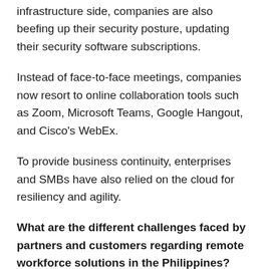infrastructure side, companies are also beefing up their security posture, updating their security software subscriptions.
Instead of face-to-face meetings, companies now resort to online collaboration tools such as Zoom, Microsoft Teams, Google Hangout, and Cisco's WebEx.
To provide business continuity, enterprises and SMBs have also relied on the cloud for resiliency and agility.
What are the different challenges faced by partners and customers regarding remote workforce solutions in the Philippines?
Employees and customers expect business leaders to make quick decisions and attend to their needs while going through operational and economic challenges. Most